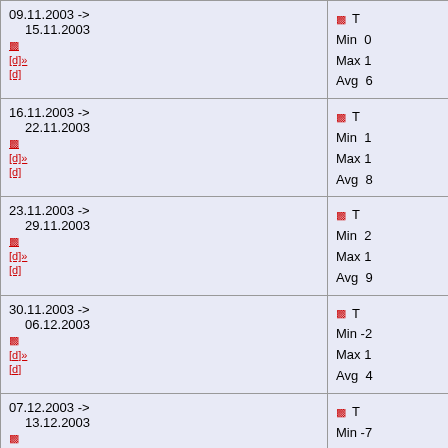| 09.11.2003 -> 15.11.2003 | T: Min 0 Max 14 Avg 6 |
| 16.11.2003 -> 22.11.2003 | T: Min 1 Max 14 Avg 8 |
| 23.11.2003 -> 29.11.2003 | T: Min 2 Max 1 Avg 9 |
| 30.11.2003 -> 06.12.2003 | T: Min -2 Max 10 Avg 4 |
| 07.12.2003 -> 13.12.2003 | T: Min -7 Max 11 Avg 0 |
| 14.12.2003 -> 20.12.2003 | T: Min ... |